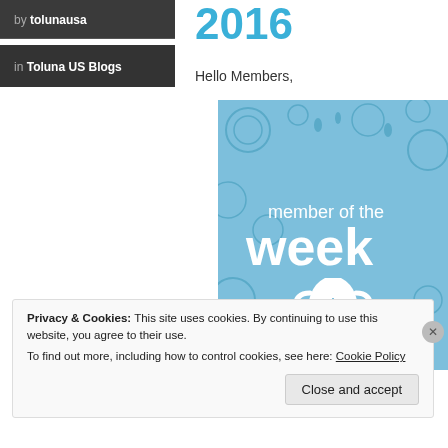by tolunausa
in Toluna US Blogs
2016
Hello Members,
[Figure (illustration): Member of the Week graphic — blue decorative background with white text reading 'member of the week' and a white trophy icon with a star/snowflake design]
Privacy & Cookies: This site uses cookies. By continuing to use this website, you agree to their use.
To find out more, including how to control cookies, see here: Cookie Policy
Close and accept